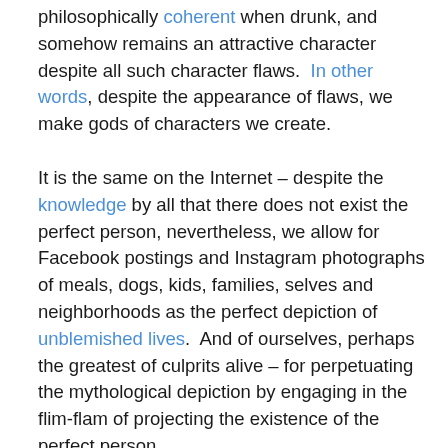philosophically coherent when drunk, and somehow remains an attractive character despite all such character flaws.  In other words, despite the appearance of flaws, we make gods of characters we create.

It is the same on the Internet – despite the knowledge by all that there does not exist the perfect person, nevertheless, we allow for Facebook postings and Instagram photographs of meals, dogs, kids, families, selves and neighborhoods as the perfect depiction of unblemished lives.  And of ourselves, perhaps the greatest of culprits alive – for perpetuating the mythological depiction by engaging in the flim-flam of projecting the existence of the perfect person.

Yet, what is the alternative?  No one wants to hear the perpetual whining of the constant apologist – that person